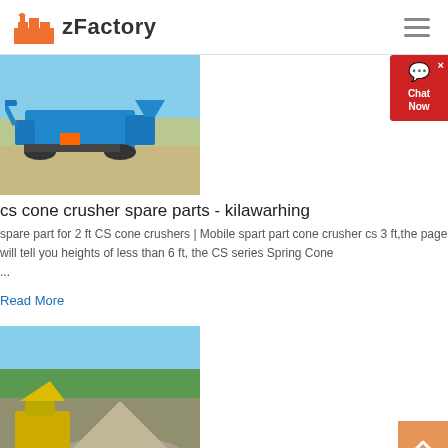zFactory
[Figure (photo): Blue mobile cone crusher machine on a job site with clear blue sky background]
cs cone crusher spare parts - kilawarhing
spare part for 2 ft CS cone crushers | Mobile spart part cone crusher cs 3 ft,the page will tell you heights of less than 6 ft, the CS series Spring Cone ...
Read More
[Figure (photo): Yellow cone crusher machine with large pile of crushed stone/aggregate, trees in background]
Cs 2 Ft Cone Crusher Spare Parts – activeimt...